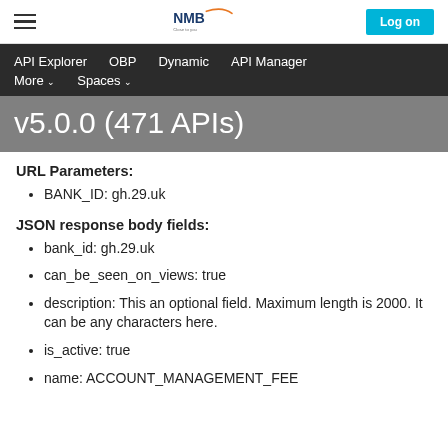NMB Bank - API Explorer | Log on
API Explorer   OBP   Dynamic   API Manager   More   Spaces
v5.0.0 (471 APIs)
URL Parameters:
BANK_ID: gh.29.uk
JSON response body fields:
bank_id: gh.29.uk
can_be_seen_on_views: true
description: This an optional field. Maximum length is 2000. It can be any characters here.
is_active: true
name: ACCOUNT_MANAGEMENT_FEE